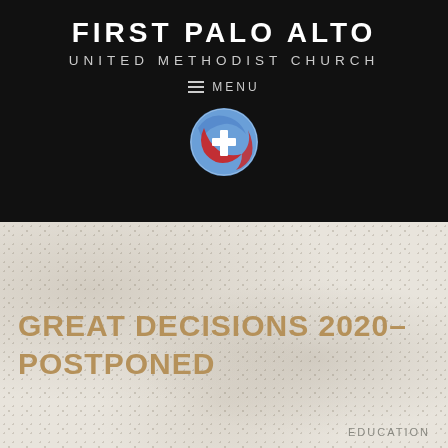FIRST PALO ALTO
UNITED METHODIST CHURCH
≡ MENU
[Figure (logo): United Methodist Church circular logo with cross and swoosh design in blue and red]
GREAT DECISIONS 2020– POSTPONED
EDUCATION